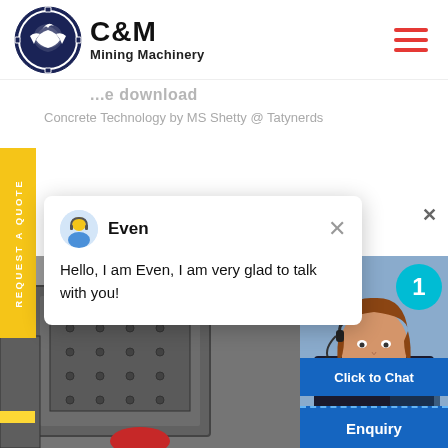[Figure (logo): C&M Mining Machinery logo with eagle/gear emblem in dark blue circle, bold C&M text and Mining Machinery subtitle]
free download
Concrete Technology by MS Shetty @ Tatynerds
REQUEST A QUOTE
[Figure (screenshot): Chat popup with avatar of support agent named Even, message: Hello, I am Even, I am very glad to talk with you!]
[Figure (photo): Mining machinery equipment in industrial setting, gray metal panels with bolts visible]
[Figure (photo): Female customer support agent wearing headset, smiling, with notification badge showing 1, Click to Chat button, and Enquiry label]